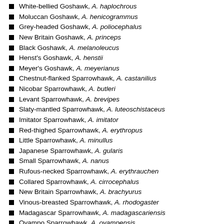White-bellied Goshawk, A. haplochrous
Moluccan Goshawk, A. henicogrammus
Grey-headed Goshawk, A. poliocephalus
New Britain Goshawk, A. princeps
Black Goshawk, A. melanoleucus
Henst's Goshawk, A. henstii
Meyer's Goshawk, A. meyerianus
Chestnut-flanked Sparrowhawk, A. castanilius
Nicobar Sparrowhawk, A. butleri
Levant Sparrowhawk, A. brevipes
Slaty-mantled Sparrowhawk, A. luteoschistaceus
Imitator Sparrowhawk, A. imitator
Red-thighed Sparrowhawk, A. erythropus
Little Sparrowhawk, A. minullus
Japanese Sparrowhawk, A. gularis
Small Sparrowhawk, A. nanus
Rufous-necked Sparrowhawk, A. erythrauchen
Collared Sparrowhawk, A. cirrocephalus
New Britain Sparrowhawk, A. brachyurus
Vinous-breasted Sparrowhawk, A. rhodogaster
Madagascar Sparrowhawk, A. madagascariensis
Ovampo Sparrowhawk, A. ovampensis